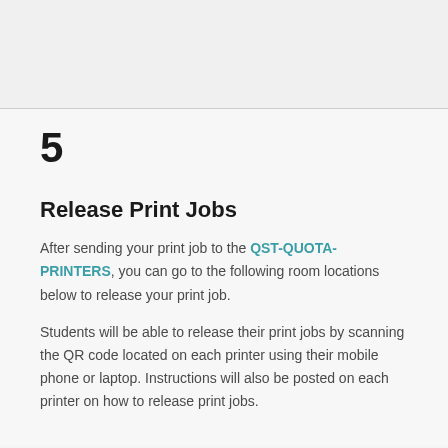5
Release Print Jobs
After sending your print job to the QST-QUOTA-PRINTERS, you can go to the following room locations below to release your print job.
Students will be able to release their print jobs by scanning the QR code located on each printer using their mobile phone or laptop. Instructions will also be posted on each printer on how to release print jobs.